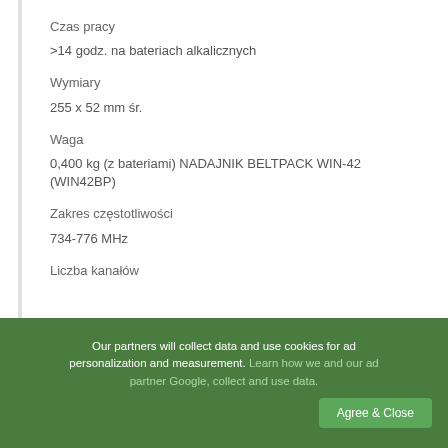Czas pracy
>14 godz. na bateriach alkalicznych
Wymiary
255 x 52 mm śr.
Waga
0,400 kg (z bateriami) NADAJNIK BELTPACK WIN-42 (WIN42BP)
Zakres częstotliwości
734-776 MHz
Liczba kanałów
Our partners will collect data and use cookies for ad personalization and measurement. Learn how we and our ad partner Google, collect and use data.